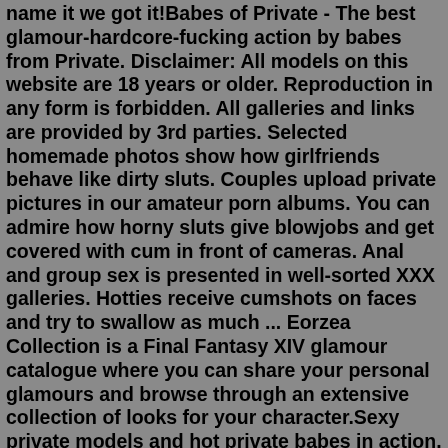name it we got it!Babes of Private - The best glamour-hardcore-fucking action by babes from Private. Disclaimer: All models on this website are 18 years or older. Reproduction in any form is forbidden. All galleries and links are provided by 3rd parties. Selected homemade photos show how girlfriends behave like dirty sluts. Couples upload private pictures in our amateur porn albums. You can admire how horny sluts give blowjobs and get covered with cum in front of cameras. Anal and group sex is presented in well-sorted XXX galleries. Hotties receive cumshots on faces and try to swallow as much ... Eorzea Collection is a Final Fantasy XIV glamour catalogue where you can share your personal glamours and browse through an extensive collection of looks for your character.Sexy private models and hot private babes in action. Vip Room Babes. Sexy Private Babes, Top Private Models And Hardcore Pics! 1. Active Pornstars 2. ... Glamour Girls Pictures 14. Porn Pics 15. Juicy Blondes 16. Fuck Babes 17. Private Babes Pics 18. Sexy Legs Nylon 19. Vip Room